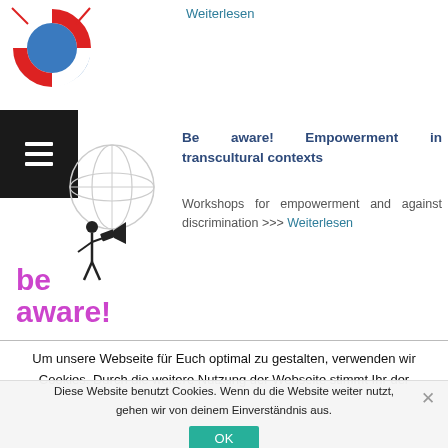Weiterlesen
[Figure (logo): Life preserver ring with NASA-style logo, red and white ring over blue circle]
[Figure (logo): Be aware! logo - magenta/purple text 'be aware!' with figure and globe illustration]
Be aware! Empowerment in transcultural contexts
Workshops for empowerment and against discrimination >>> Weiterlesen
Um unsere Webseite für Euch optimal zu gestalten, verwenden wir Cookies. Durch die weitere Nutzung der Webseite stimmt Ihr der
Diese Website benutzt Cookies. Wenn du die Website weiter nutzt, gehen wir von deinem Einverständnis aus.